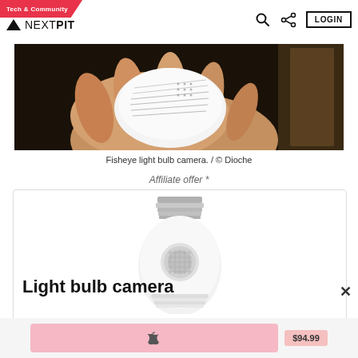Tech & Community | NEXTPIT | LOGIN
[Figure (photo): A hand holding a fisheye light bulb camera device, showing the back with ventilation lines and dot pattern, against a dark background with a door visible.]
Fisheye light bulb camera. / © Dioche
Affiliate offer *
[Figure (photo): A white light bulb shaped security camera with metal screw base at top and camera lens visible in the lower bulb area.]
Light bulb camera